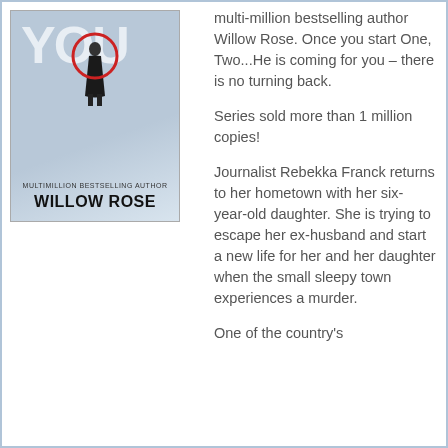[Figure (illustration): Book cover of 'One, Two...He is Coming for You' by Willow Rose — a thriller novel cover with large text and a silhouetted figure]
multi-million bestselling author Willow Rose. Once you start One, Two...He is coming for you – there is no turning back.
Series sold more than 1 million copies!
Journalist Rebekka Franck returns to her hometown with her six-year-old daughter. She is trying to escape her ex-husband and start a new life for her and her daughter when the small sleepy town experiences a murder.
One of the country's